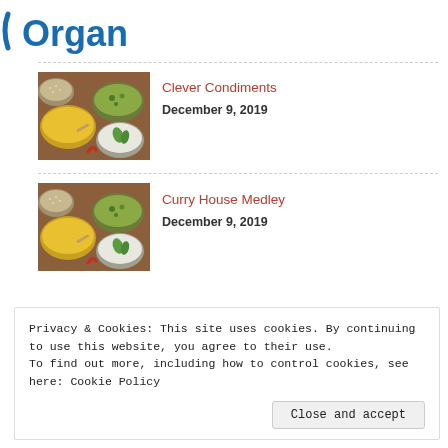[Figure (logo): Partial logo showing 'Organ' in bold blue text with a slash/curve mark]
[Figure (photo): Food photo: Indian dishes including yellow curry, tabbouleh, and raita in metal bowls on a wooden surface]
Clever Condiments
December 9, 2019
[Figure (photo): Food photo: Indian dishes including yellow curry, tabbouleh, and raita in metal bowls on a wooden surface]
Curry House Medley
December 9, 2019
Privacy & Cookies: This site uses cookies. By continuing to use this website, you agree to their use.
To find out more, including how to control cookies, see here: Cookie Policy
Close and accept